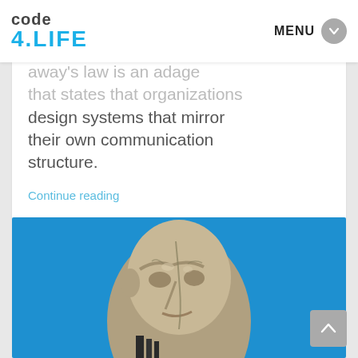code 4.LIFE — MENU
away's law is an adage that states that organizations design systems that mirror their own communication structure.
Continue reading
[Figure (photo): A worn stone or concrete sculpture of a human head and face, viewed from below against a bright blue sky background.]